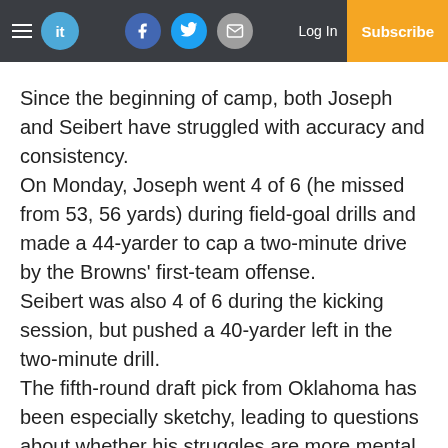it — Log In Subscribe
Since the beginning of camp, both Joseph and Seibert have struggled with accuracy and consistency. On Monday, Joseph went 4 of 6 (he missed from 53, 56 yards) during field-goal drills and made a 44-yarder to cap a two-minute drive by the Browns' first-team offense. Seibert was also 4 of 6 during the kicking session, but pushed a 40-yarder left in the two-minute drill. The fifth-round draft pick from Oklahoma has been especially sketchy, leading to questions about whether his struggles are more mental than